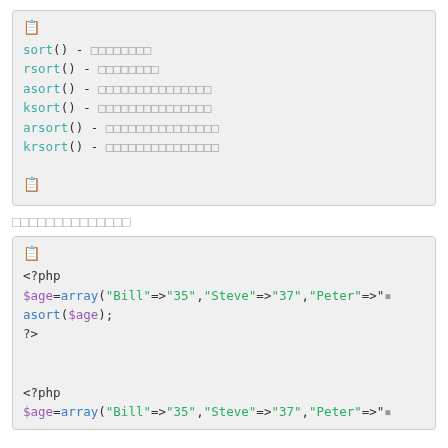sort() - xxxxxxxx
rsort() - xxxxxxxx
asort() - xxxxxxxxxxxxxxx
ksort() - xxxxxxxxxxxxxxx
arsort() - xxxxxxxxxxxxxxx
krsort() - xxxxxxxxxxxxxxx
xxxxxxxxxxxxxx
<?php
$age=array("Bill"=>"35","Steve"=>"37","Peter"=>".
asort($age);
?>

<?php
$age=array("Bill"=>"35","Steve"=>"37","Peter"=>"